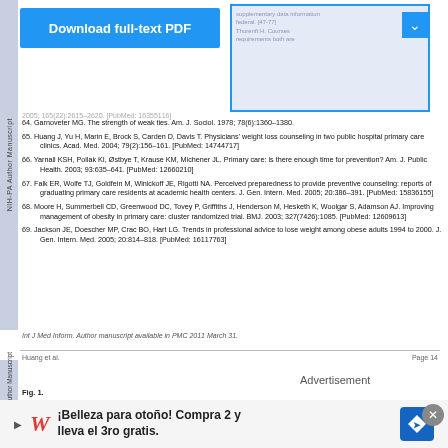[Figure (other): Download full-text PDF button (blue)]
64. Garnoveter MG. The strength of weak ties. Am. J. Sociol. 1978; 78(6):1360–1380.
65. Huang J, Yu H, Marin E, Brock S, Carden D, Davis T. Physicians' weight loss counseling in two public hospital primary care clinics. Acad. Med. 2004; 79(2):156–161. [PubMed: 14744717]
66. Yarnall KSH, Pollak KI, Østbye T, Krause KM, Michener JL. Primary care: is there enough time for prevention? Am. J. Public Health. 2003; 93:635–641. [PubMed: 12660210]
67. Falk ER, Wolfe TJ, Goldfein M, Winickoff JE, Rigotti NA. Perceived preparedness to provide preventive counseling: reports of graduating primary care residents at academic health centers. J. Gen. Intern. Med. 2005; 20:386–391. [PubMed: 15836155]
68. Moore H, Summerbell CD, Greenwood DC, Tovey P, Griffiths J, Henderson M, Hesketh K, Woolgar S, Adamson AJ. Improving management of obesity in primary care: cluster randomized trial. BMJ. 2003; 327(7426):1085. [PubMed: 14630613]
69. Jackson JE, Doescher MP, Crac BO, Hart LG. Trends in professional advice to lose weight among obese adults 1994 to 2000. J. Gen. Intern. Med. 2005; 20:814–818. [PubMed: 16117763]
Int J Med Inform. Author manuscript available in PMC 2011 March 31.
Huang et al.    Page 14
Fig. 1.
[Figure (other): Advertisement banner: ¡Belleza para otoño! Compra 2 y lleva el 3ro gratis. (Walgreens ad)]